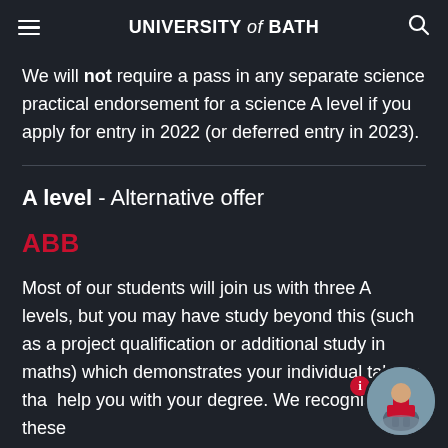UNIVERSITY of BATH
We will not require a pass in any separate science practical endorsement for a science A level if you apply for entry in 2022 (or deferred entry in 2023).
A level - Alternative offer
ABB
Most of our students will join us with three A levels, but you may have study beyond this (such as a project qualification or additional study in maths) which demonstrates your individual talents that help you with your degree. We recognise these